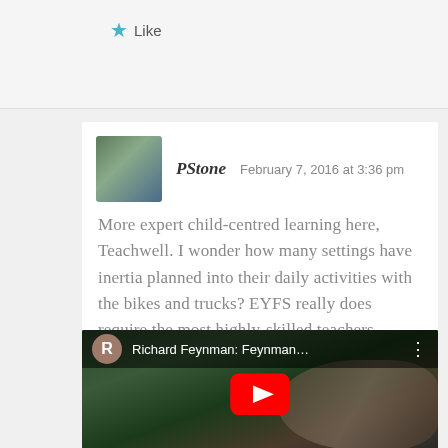Like
PStone    February 7, 2016 at 3:36 pm
More expert child-centred learning here, Teachwell. I wonder how many settings have inertia planned into their daily activities with the bikes and trucks? EYFS really does require the most highly-skilled teachers. Anyone can bang on to 11 year olds about frontal adverbials.
[Figure (screenshot): YouTube video thumbnail showing Richard Feynman with title 'Richard Feynman: Feynman...' and play button overlay]